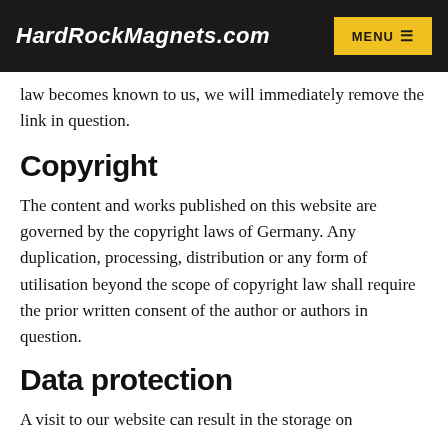HardRockMagnets.com | MENU
law becomes known to us, we will immediately remove the link in question.
Copyright
The content and works published on this website are governed by the copyright laws of Germany. Any duplication, processing, distribution or any form of utilisation beyond the scope of copyright law shall require the prior written consent of the author or authors in question.
Data protection
A visit to our website can result in the storage on